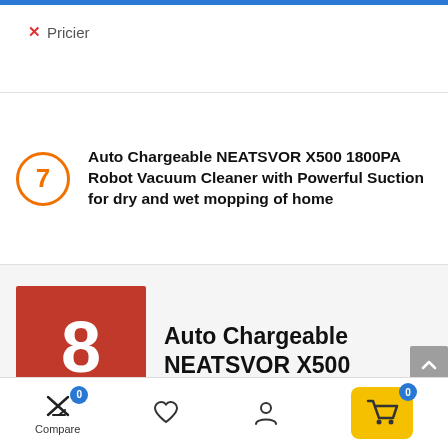✕ Pricier
Auto Chargeable NEATSVOR X500 1800PA Robot Vacuum Cleaner with Powerful Suction for dry and wet mopping of home
[Figure (infographic): Expert score badge showing '8' in red square with black 'EXPERT SCORE' label below]
Auto Chargeable NEATSVOR X500 1800PA
Compare 0 | (heart icon) | (user icon) | Cart 0